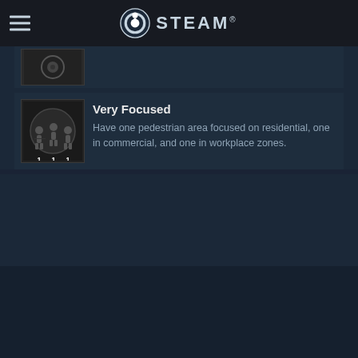STEAM
[Figure (screenshot): Partial achievement item with icon (top, cropped)]
Very Focused
Have one pedestrian area focused on residential, one in commercial, and one in workplace zones.